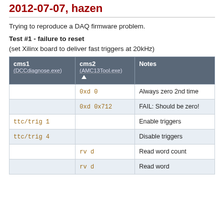2012-07-07, hazen
Trying to reproduce a DAQ firmware problem.
Test #1 - failure to reset
(set Xilinx board to deliver fast triggers at 20kHz)
| cms1
(DCCdiagnose.exe) | cms2
(AMC13Tool.exe) | Notes |
| --- | --- | --- |
|  | 0xd 0 | Always zero 2nd time |
|  | 0xd 0x712 | FAIL: Should be zero! |
| ttc/trig 1 |  | Enable triggers |
| ttc/trig 4 |  | Disable triggers |
|  | rv d | Read word count |
|  | rv d | Read word |